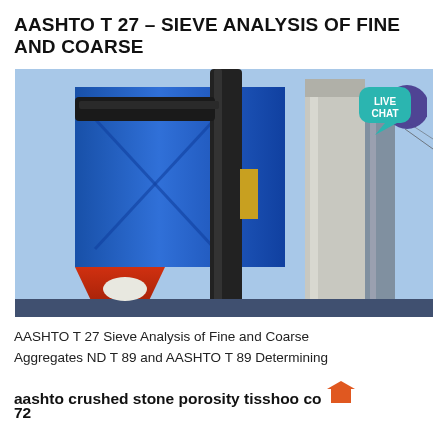AASHTO T 27 – SIEVE ANALYSIS OF FINE AND COARSE
[Figure (photo): Industrial facility with blue dust collector/baghouse structure, large black pipes, and a tall concrete chimney stack against a blue sky. A 'LIVE CHAT' speech bubble overlay is visible in the top right corner.]
AASHTO T 27 Sieve Analysis of Fine and Coarse Aggregates ND T 89 and AASHTO T 89 Determining
aashto crushed stone porosity tisshoo co 72